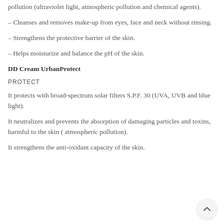pollution (ultraviolet light, atmospheric pollution and chemical agents).
– Cleanses and removes make-up from eyes, face and neck without rinsing.
– Strengthens the protective barrier of the skin.
– Helps moisturize and balance the pH of the skin.
DD Cream UrbanProtect
PROTECT
It protects with broad-spectrum solar filters S.P.F. 30 (UVA, UVB and blue light).
It neutralizes and prevents the absorption of damaging particles and toxins, harmful to the skin ( atmospheric pollution).
It strengthens the anti-oxidant capacity of the skin.